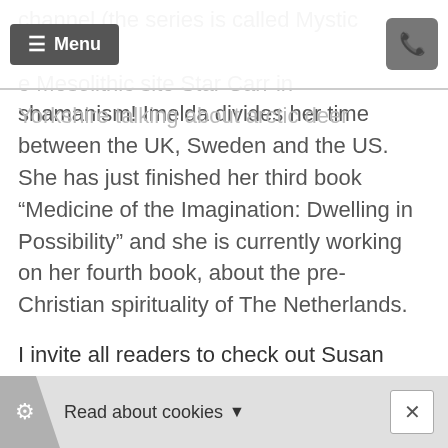channel (the series is called Mystic Britain) e Mesolithic site Star Carr in Yorkshire talking about arctic deer
shamanism! Imelda divides her time between the UK, Sweden and the US. She has just finished her third book “Medicine of the Imagination: Dwelling in Possibility” and she is currently working on her fourth book, about the pre-Christian spirituality of The Netherlands.
I invite all readers to check out Susan Rossi’s website dedicated to astrology: https://openchannelastrology.com/
Category
Read about cookies ▾ ×